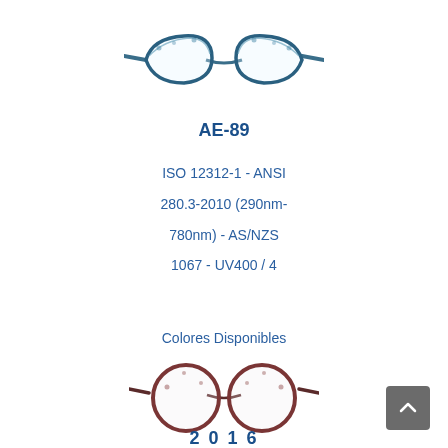[Figure (illustration): Cat-eye style eyeglasses frame in blue/teal tortoise pattern, front view]
AE-89
ISO 12312-1 - ANSI 280.3-2010 (290nm-780nm) - AS/NZS 1067 - UV400 / 4
Colores Disponibles
[Figure (illustration): Round style eyeglasses frame in dark red/brown tortoise pattern, front view]
2016